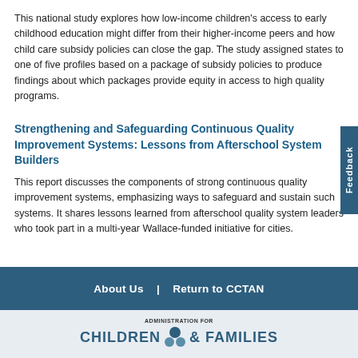This national study explores how low-income children's access to early childhood education might differ from their higher-income peers and how child care subsidy policies can close the gap. The study assigned states to one of five profiles based on a package of subsidy policies to produce findings about which packages provide equity in access to high quality programs.
Strengthening and Safeguarding Continuous Quality Improvement Systems: Lessons from Afterschool System Builders
This report discusses the components of strong continuous quality improvement systems, emphasizing ways to safeguard and sustain such systems. It shares lessons learned from afterschool quality system leaders who took part in a multi-year Wallace-funded initiative for cities.
About Us  |  Return to CCTAN